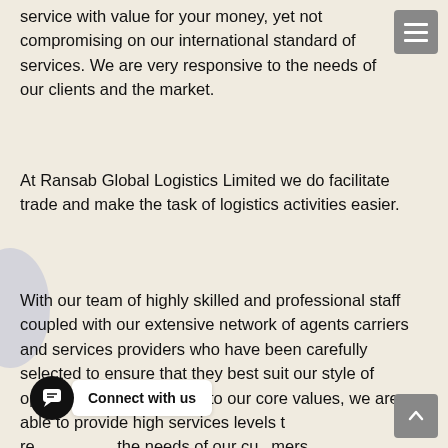service with value for your money, yet not compromising on our international standard of services. We are very responsive to the needs of our clients and the market.
At Ransab Global Logistics Limited we do facilitate trade and make the task of logistics activities easier.
With our team of highly skilled and professional staff coupled with our extensive network of agents carriers and services providers who have been carefully selected to ensure that they best suit our style of operations and subscribe to our core values, we are able to provide high services levels to meet the needs of our customers.